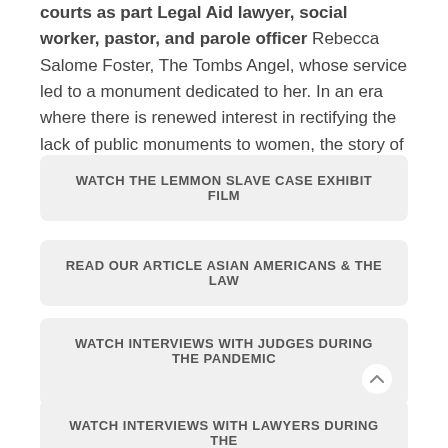courts as part Legal Aid lawyer, social worker, pastor, and parole officer Rebecca Salome Foster, The Tombs Angel, whose service led to a monument dedicated to her. In an era where there is renewed interest in rectifying the lack of public monuments to women, the story of the Tombs Angel is particularly relevant.
WATCH THE LEMMON SLAVE CASE EXHIBIT FILM
READ OUR ARTICLE ASIAN AMERICANS & THE LAW
WATCH INTERVIEWS WITH JUDGES DURING THE PANDEMIC
WATCH INTERVIEWS WITH LAWYERS DURING THE PANDEMIC